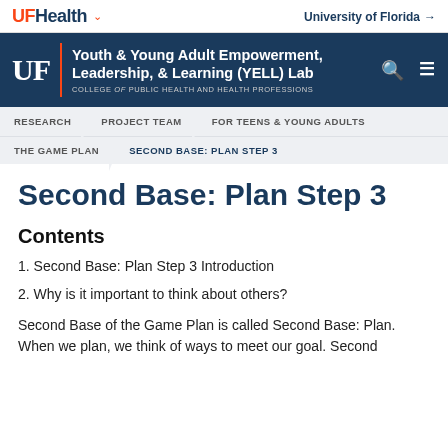UF Health | University of Florida
[Figure (logo): UF Health logo with navigation header showing Youth & Young Adult Empowerment, Leadership, & Learning (YELL) Lab, College of Public Health and Health Professions]
RESEARCH | PROJECT TEAM | FOR TEENS & YOUNG ADULTS | THE GAME PLAN | SECOND BASE: PLAN STEP 3
Second Base: Plan Step 3
Contents
1. Second Base: Plan Step 3 Introduction
2. Why is it important to think about others?
Second Base of the Game Plan is called Second Base: Plan. When we plan, we think of ways to meet our goal. Second